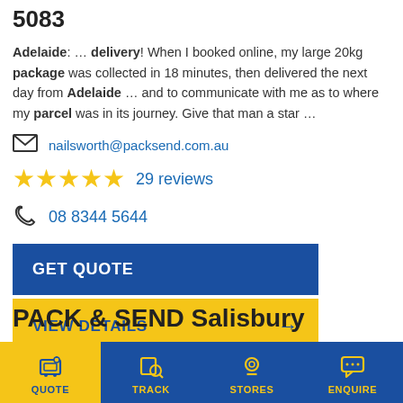5083
Adelaide: … delivery! When I booked online, my large 20kg package was collected in 18 minutes, then delivered the next day from Adelaide … and to communicate with me as to where my parcel was in its journey. Give that man a star …
nailsworth@packsend.com.au
29 reviews
08 8344 5644
GET QUOTE
VIEW DETAILS
PACK & SEND Salisbury
QUOTE | TRACK | STORES | ENQUIRE